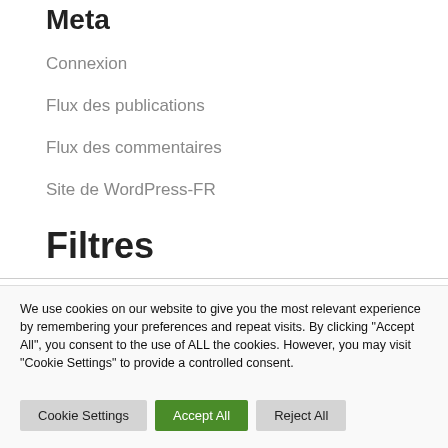Meta
Connexion
Flux des publications
Flux des commentaires
Site de WordPress-FR
Filtres
Thèmes
We use cookies on our website to give you the most relevant experience by remembering your preferences and repeat visits. By clicking "Accept All", you consent to the use of ALL the cookies. However, you may visit "Cookie Settings" to provide a controlled consent.